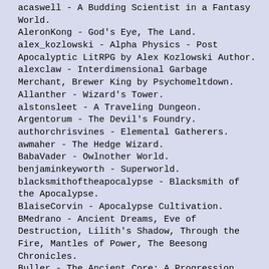acaswell - A Budding Scientist in a Fantasy World.
AleronKong - God's Eye, The Land.
alex_kozlowski - Alpha Physics - Post Apocalyptic LitRPG by Alex Kozlowski Author.
alexclaw - Interdimensional Garbage Merchant, Brewer King by Psychomeltdown.
Allanther - Wizard's Tower.
alstonsleet - A Traveling Dungeon.
Argentorum - The Devil's Foundry.
authorchrisvines - Elemental Gatherers.
awmaher - The Hedge Wizard.
BabaVader - Owlnother World.
benjaminkeyworth - Superworld.
blacksmithoftheapocalypse - Blacksmith of the Apocalypse.
BlaiseCorvin - Apocalypse Cultivation.
BMedrano - Ancient Dreams, Eve of Destruction, Lilith's Shadow, Through the Fire, Mantles of Power, The Beesong Chronicles.
Buller - The Ancient Core: A Progression Fantasy.
C_Mantis - The Path of Ascension
caerulex - The Menocht Loop.
cathfach - An Unbound Soul, A Lonely Dungeon.
chronicler - The Eagle's Flight.
chunwa - A Dragon's Curiosity.
CoCo_P - Tower of Somnus, Viceroy's Pride, Blessed Time.
Comiak - The Reincarnation of Alysara.
DakotaKrout - Desolation, CC2.
Dbfassbinder - Confessions of a Magpie Wizard.